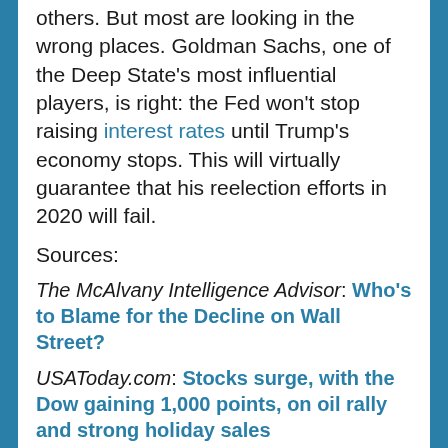others. But most are looking in the wrong places. Goldman Sachs, one of the Deep State's most influential players, is right: the Fed won't stop raising interest rates until Trump's economy stops. This will virtually guarantee that his reelection efforts in 2020 will fail.
Sources:
The McAlvany Intelligence Advisor: Who's to Blame for the Decline on Wall Street?
USAToday.com: Stocks surge, with the Dow gaining 1,000 points, on oil rally and strong holiday sales
NewsMax.com: Dow Notches Record 1,000-Plus Point Surge in Dramatic Rebound
The Wall Street Journal: Dow Industrials Leap More Than 1,000 Points